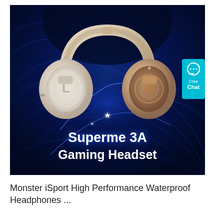[Figure (photo): Product promotional image of the Superme 3A Gaming Headset — an over-ear headphone in gold/rose-gold and white colorway, shown against a dark navy blue background with glowing blue energy light streaks. Bold white text reads 'Superme 3A Gaming Headset'. A cyan 'Free Chat' live-chat widget appears at the right edge.]
Monster iSport High Performance Waterproof Headphones ...